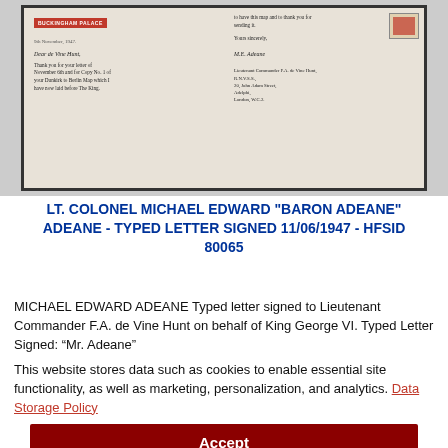[Figure (photo): Photograph of a typed letter signed from Buckingham Palace dated 9th November 1947 addressed to Lieutenant Commander F.A. de Vine Hunt, showing both the letter and the envelope.]
LT. COLONEL MICHAEL EDWARD "BARON ADEANE" ADEANE - TYPED LETTER SIGNED 11/06/1947 - HFSID 80065
MICHAEL EDWARD ADEANE Typed letter signed to Lieutenant Commander F.A. de Vine Hunt on behalf of King George VI. Typed Letter Signed: “Mr. Adeane”
This website stores data such as cookies to enable essential site functionality, as well as marketing, personalization, and analytics. Data Storage Policy
Accept
Deny